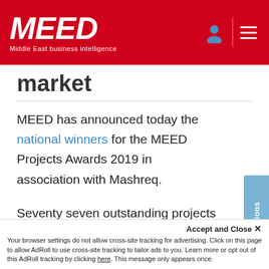MEED — Middle East business intelligence
market
MEED has announced today the national winners for the MEED Projects Awards 2019 in association with Mashreq.
Seventy seven outstanding projects have been given national winner status as part of the first round of judging for the coveted awards. Competing in categories that capture the ongoing diversification of our region, the national winners now enter the second stage of judging, during which they will be...
Get Notifications
Accept and Close ✕
Your browser settings do not allow cross-site tracking for advertising. Click on this page to allow AdRoll to use cross-site tracking to tailor ads to you. Learn more or opt out of this AdRoll tracking by clicking here. This message only appears once.